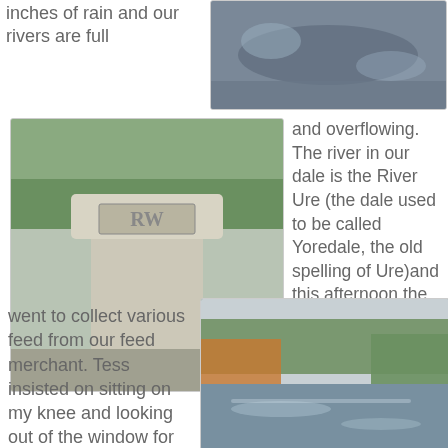inches of rain and our rivers are full
[Figure (photo): Close-up of a flowing river with dark reflective water surface]
[Figure (photo): Stone marker or gate post carved with letters, on a bridge with countryside in background]
and overflowing. The river in our dale is the River Ure (the dale used to be called Yoredale, the old spelling of Ure)and this afternoon the farmer and I crossed it as we
went to collect various feed from our feed merchant. Tess insisted on sitting on my knee and looking out of the window for the whole of the
[Figure (photo): Swollen river with trees lining the banks, water overflowing]